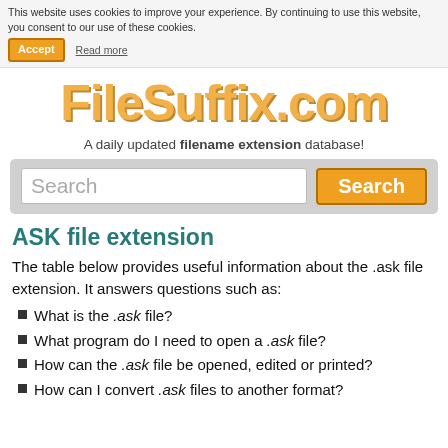This website uses cookies to improve your experience. By continuing to use this website, you consent to our use of these cookies. Accept  Read more
[Figure (logo): FileSuffix.com logo in large orange bold text]
A daily updated filename extension database!
[Figure (other): Search bar with text input and orange Search button]
ASK file extension
The table below provides useful information about the .ask file extension. It answers questions such as:
What is the .ask file?
What program do I need to open a .ask file?
How can the .ask file be opened, edited or printed?
How can I convert .ask files to another format?